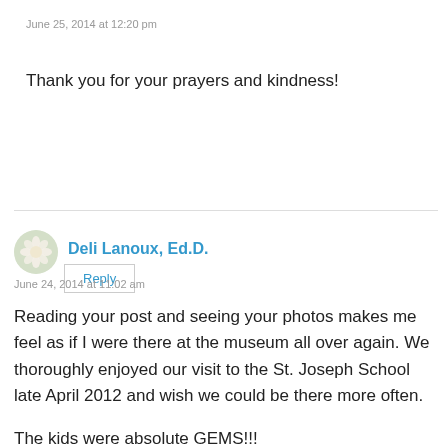June 25, 2014 at 12:20 pm
Thank you for your prayers and kindness!
Reply
[Figure (illustration): Circular avatar with flower illustration for user Deli Lanoux, Ed.D.]
Deli Lanoux, Ed.D.
June 24, 2014 at 11:02 am
Reading your post and seeing your photos makes me feel as if I were there at the museum all over again. We thoroughly enjoyed our visit to the St. Joseph School late April 2012 and wish we could be there more often.
The kids were absolute GEMS!!!